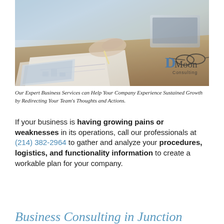[Figure (photo): Business professionals reviewing documents/charts on a desk, with a laptop and glasses visible. DMoon Consulting logo overlaid in bottom right corner.]
Our Expert Business Services can Help Your Company Experience Sustained Growth by Redirecting Your Team's Thoughts and Actions.
If your business is having growing pains or weaknesses in its operations, call our professionals at (214) 382-2964 to gather and analyze your procedures, logistics, and functionality information to create a workable plan for your company.
Business Consulting in Junction